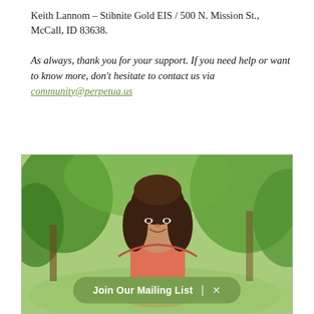Keith Lannom – Stibnite Gold EIS / 500 N. Mission St., McCall, ID 83638.
As always, thank you for your support. If you need help or want to know more, don't hesitate to contact us via community@perpetua.us
[Figure (photo): A middle-aged woman with dark brown hair, wearing a salmon/coral top, smiling in an outdoor setting with green trees in the background. A 'Join Our Mailing List | X' pill-shaped button overlays the bottom of the image.]